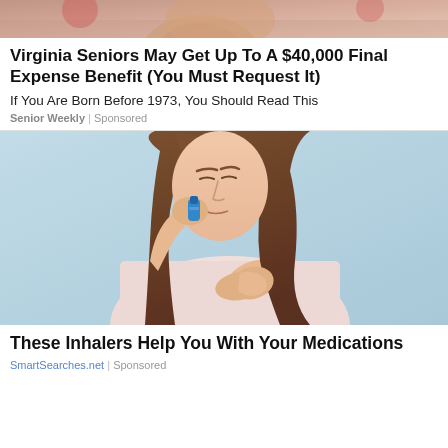[Figure (photo): Top portion of an advertisement image showing elderly person — partially cropped at top]
Virginia Seniors May Get Up To A $40,000 Final Expense Benefit (You Must Request It)
If You Are Born Before 1973, You Should Read This
Senior Weekly | Sponsored
[Figure (photo): Young woman with long brown hair using a blue inhaler, holding her chest with her other hand, wearing a light pink top, against a light blue background]
These Inhalers Help You With Your Medications
SmartSearches.net | Sponsored